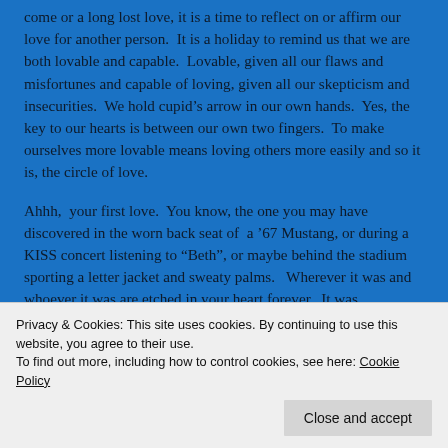come or a long lost love, it is a time to reflect on or affirm our love for another person.  It is a holiday to remind us that we are both lovable and capable.  Lovable, given all our flaws and misfortunes and capable of loving, given all our skepticism and insecurities.  We hold cupid’s arrow in our own hands.  Yes, the key to our hearts is between our own two fingers.  To make ourselves more lovable means loving others more easily and so it is, the circle of love.
Ahhh,  your first love.  You know, the one you may have discovered in the worn back seat of  a ’67 Mustang, or during a KISS concert listening to “Beth”, or maybe behind the stadium sporting a letter jacket and sweaty palms.   Wherever it was and whoever it was are etched in your heart forever.  It was electrifying.  Selfish feelings of love that came crashing over you, knocking your head and heart  into polar opposite directions. But you didn’t care. You were swept
Privacy & Cookies: This site uses cookies. By continuing to use this website, you agree to their use.
To find out more, including how to control cookies, see here: Cookie Policy
Close and accept
gained teamwork.  The big one.  The one that shows our best and